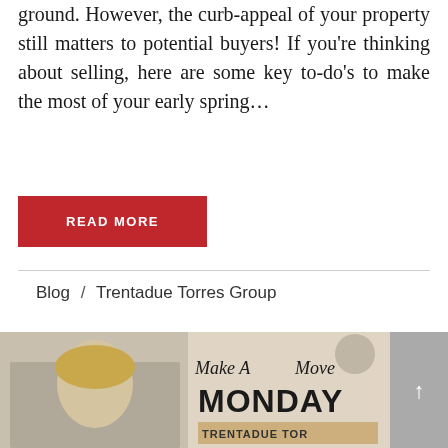ground. However, the curb-appeal of your property still matters to potential buyers! If you're thinking about selling, here are some key to-do's to make the most of your early spring…
READ MORE
Blog / Trentadue Torres Group
[Figure (photo): Promotional image for 'Make A Move Monday' by Trentadue Torres Group, showing script text 'Make A Move' and bold text 'MONDAY' with a woman and partial branded sign visible.]